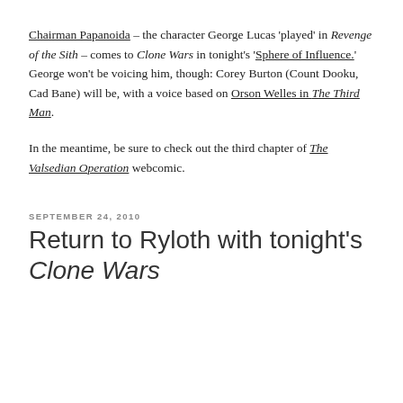Chairman Papanoida – the character George Lucas 'played' in Revenge of the Sith – comes to Clone Wars in tonight's 'Sphere of Influence.' George won't be voicing him, though: Corey Burton (Count Dooku, Cad Bane) will be, with a voice based on Orson Welles in The Third Man.
In the meantime, be sure to check out the third chapter of The Valsedian Operation webcomic.
SEPTEMBER 24, 2010
Return to Ryloth with tonight's Clone Wars